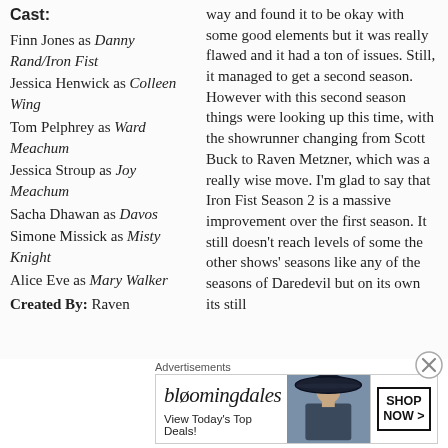Cast:
Finn Jones as Danny Rand/Iron Fist
Jessica Henwick as Colleen Wing
Tom Pelphrey as Ward Meachum
Jessica Stroup as Joy Meachum
Sacha Dhawan as Davos
Simone Missick as Misty Knight
Alice Eve as Mary Walker
Created By: Raven
way and found it to be okay with some good elements but it was really flawed and it had a ton of issues. Still, it managed to get a second season. However with this second season things were looking up this time, with the showrunner changing from Scott Buck to Raven Metzner, which was a really wise move. I'm glad to say that Iron Fist Season 2 is a massive improvement over the first season. It still doesn't reach levels of some the other shows' seasons like any of the seasons of Daredevil but on its own its still
Advertisements
[Figure (other): Bloomingdales advertisement banner showing logo, 'View Today's Top Deals!' text, a woman with a wide-brim hat, and a 'SHOP NOW >' button]